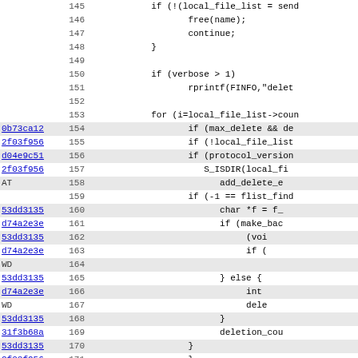[Figure (screenshot): Code viewer showing lines 145-176 of a C source file with line numbers, commit hashes (as hyperlinks), and syntax-highlighted code. Alternating rows have grey background for changed lines.]